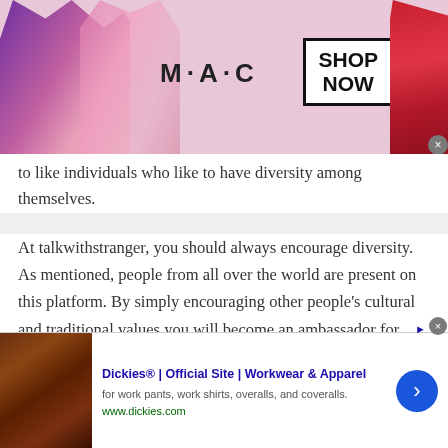[Figure (screenshot): MAC Cosmetics advertisement banner showing lipsticks and a 'SHOP NOW' box]
to like individuals who like to have diversity among themselves.
At talkwithstranger, you should always encourage diversity. As mentioned, people from all over the world are present on this platform. By simply encouraging other people's cultural and traditional values you will become an ambassador for diversity. This will automatically attract people to chat with you. So, chat with people of Lao People's Democratic Republic and all other countries that you
[Figure (screenshot): Dickies official site advertisement banner with leather jacket image and arrow button]